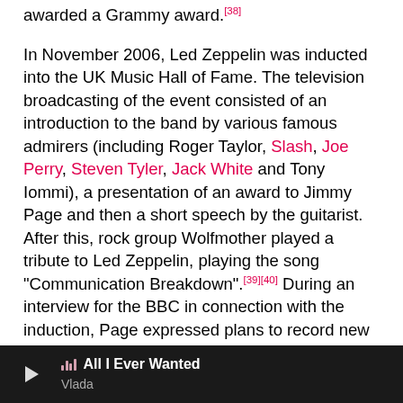awarded a Grammy award.[38]
In November 2006, Led Zeppelin was inducted into the UK Music Hall of Fame. The television broadcasting of the event consisted of an introduction to the band by various famous admirers (including Roger Taylor, Slash, Joe Perry, Steven Tyler, Jack White and Tony Iommi), a presentation of an award to Jimmy Page and then a short speech by the guitarist. After this, rock group Wolfmother played a tribute to Led Zeppelin, playing the song "Communication Breakdown".[39][40] During an interview for the BBC in connection with the induction, Page expressed plans to record new material in 2007, saying: "It's an album that I really need to get out of my system ...there's a good album in there and it's ready to come out" and "Also there will be some Zeppelin things on the horizon."[41]
On 10 December 2007, the surviving members of Led
[Figure (other): Media player bar showing play button, sound bars icon, song title 'All I Ever Wanted' and artist name 'Vlada' on dark background]